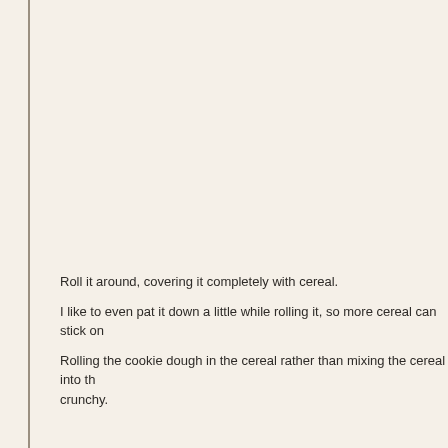Roll it around, covering it completely with cereal.
I like to even pat it down a little while rolling it, so more cereal can stick on
Rolling the cookie dough in the cereal rather than mixing the cereal into th crunchy.